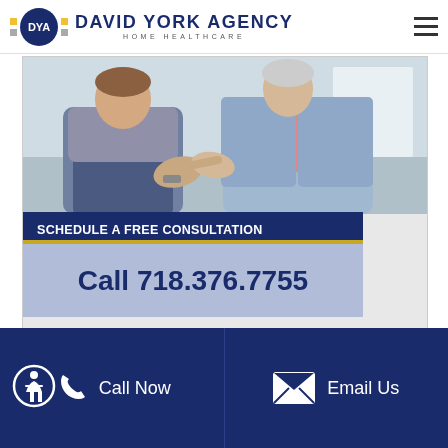DYA DAVID YORK AGENCY HOME HEALTHCARE
[Figure (photo): Healthcare worker and elderly patient sitting together, hands visible, consultation scene. Below photo: dark blue banner reading SCHEDULE A FREE CONSULTATION, yellow line separator, light blue area with Call 718.376.7755]
SCHEDULE A FREE CONSULTATION
Call 718.376.7755
Call Now | Email Us